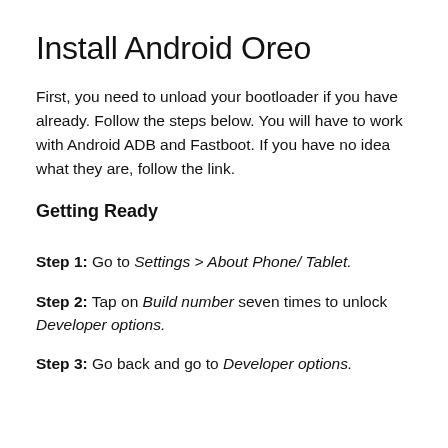Install Android Oreo
First, you need to unload your bootloader if you have already. Follow the steps below. You will have to work with Android ADB and Fastboot. If you have no idea what they are, follow the link.
Getting Ready
Step 1: Go to Settings > About Phone/Tablet.
Step 2: Tap on Build number seven times to unlock Developer options.
Step 3: Go back and go to Developer options.
Step 4: Turn on USB debugging.